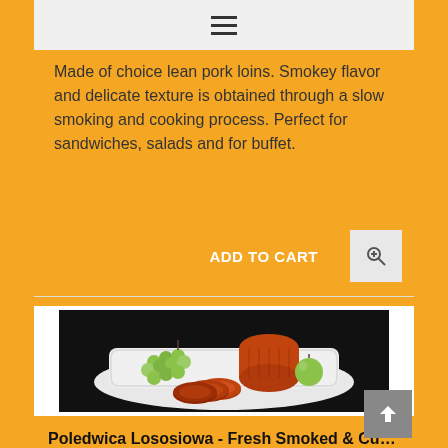≡ (hamburger menu icon)
Made of choice lean pork loins. Smokey flavor and delicate texture is obtained through a slow smoking and cooking process. Perfect for sandwiches, salads and for buffet.
ADD TO CART
[Figure (photo): Photo of sliced smoked pork loin (poledwica lososiowa) on a white plate with green grapes and a green apple, on a dark background]
Poledwica Lososiowa - Fresh Smoked & Cured